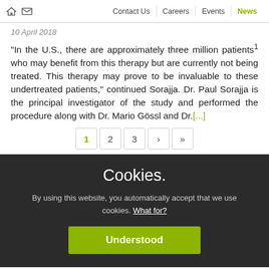Contact Us   Careers   Events   News
10 April 2018
“In the U.S., there are approximately three million patients1 who may benefit from this therapy but are currently not being treated. This therapy may prove to be invaluable to these undertreated patients,” continued Sorajja. Dr. Paul Sorajja is the principal investigator of the study and performed the procedure along with Dr. Mario Gössl and Dr.[...]
Pagination: 1 2 3 › »
Cookies.
By using this website, you automatically accept that we use cookies. What for?
Understood